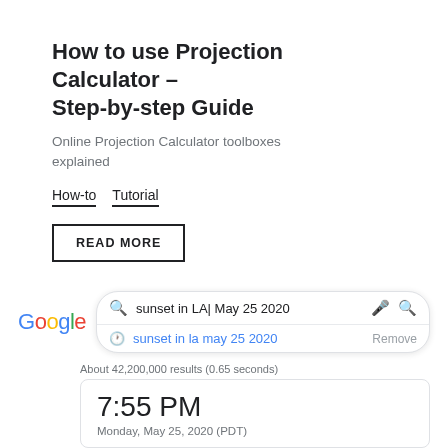How to use Projection Calculator - Step-by-step Guide
Online Projection Calculator toolboxes explained
How-to
Tutorial
READ MORE
[Figure (screenshot): Google search screenshot showing query 'sunset in LA| May 25 2020' with a dropdown suggestion 'sunset in la may 25 2020' and a Remove option, results count 'About 42,200,000 results (0.65 seconds)', and a time card showing '7:55 PM' and 'Monday, May 25, 2020 (PDT)']